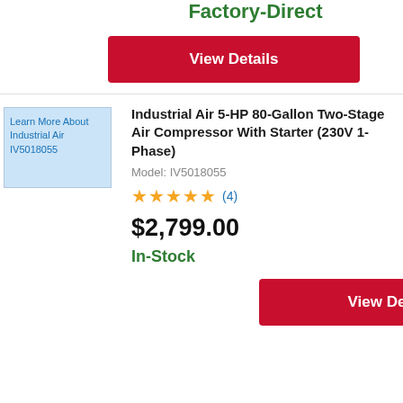Factory-Direct
View Details
[Figure (photo): Product image placeholder for Industrial Air IV5018055 with alt text: Learn More About Industrial Air IV5018055]
Industrial Air 5-HP 80-Gallon Two-Stage Air Compressor With Starter (230V 1-Phase)
Model: IV5018055
★★★★★ (4)
$2,799.00
In-Stock
View Details